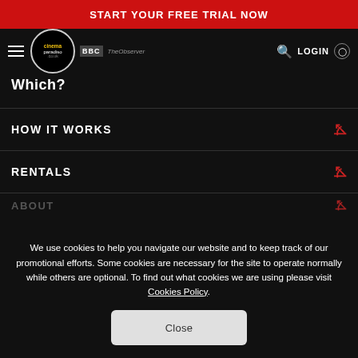START YOUR FREE TRIAL NOW
[Figure (logo): Cinema Paradiso logo with BBC and The Observer partner logos, hamburger menu, search icon, and LOGIN button in navigation bar]
Which?
HOW IT WORKS
RENTALS
ABOUT
We use cookies to help you navigate our website and to keep track of our promotional efforts. Some cookies are necessary for the site to operate normally while others are optional. To find out what cookies we are using please visit Cookies Policy.
Close